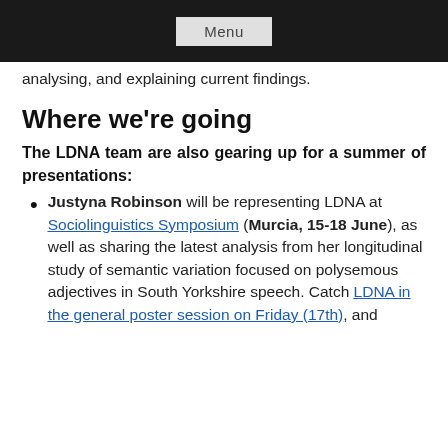Menu
analysing, and explaining current findings.
Where we're going
The LDNA team are also gearing up for a summer of presentations:
Justyna Robinson will be representing LDNA at Sociolinguistics Symposium (Murcia, 15-18 June), as well as sharing the latest analysis from her longitudinal study of semantic variation focused on polysemous adjectives in South Yorkshire speech. Catch LDNA in the general poster session on Friday (17th), and